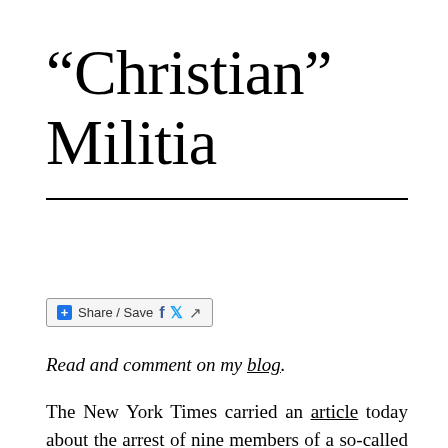“Christian” Militia
[Figure (other): Social share bar with Share/Save button, Facebook icon, Twitter icon, and share arrow icon]
Read and comment on my blog.
The New York Times carried an article today about the arrest of nine members of a so-called Christian militia in Clayton, Michigan. They are charged with plotting murder and sedition. The Times uncritically labels them “Christian” apparently